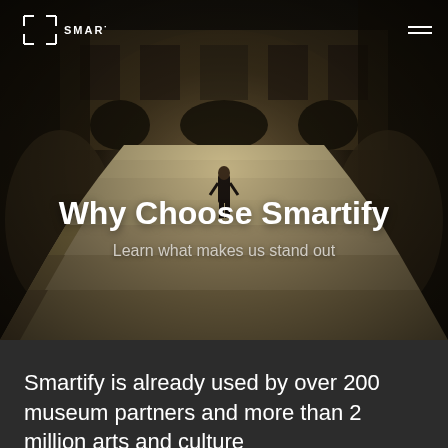[Figure (photo): Interior of a grand museum hall (Louvre) with ornate stone architecture, wide staircase, classical sculptures on either side, and a lone figure in black standing on the stairs. Dark, moody lighting.]
Why Choose Smartify
Learn what makes us stand out
Smartify is already used by over 200 museum partners and more than 2 million arts and culture